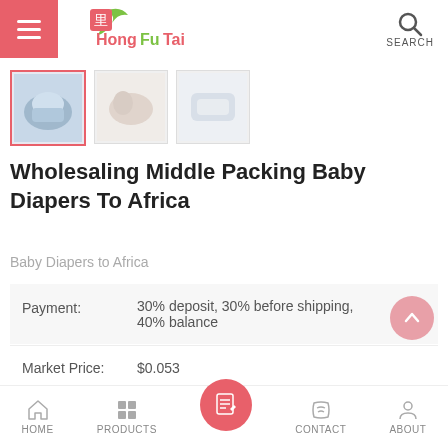[Figure (logo): HongFuTai logo with green checkmark leaf and red Chinese character, red and green brand name text]
[Figure (photo): Three product thumbnail images of baby diapers; first is selected with red border]
Wholesaling Middle Packing Baby Diapers To Africa
Baby Diapers to Africa
| Field | Value |
| --- | --- |
| Payment: | 30% deposit, 30% before shipping, 40% balance |
| Market Price: | $0.053 |
[Figure (other): Bottom navigation bar with HOME, PRODUCTS, center inquiry button, CONTACT, ABOUT icons]